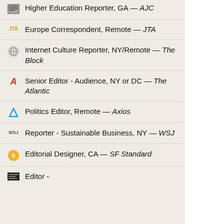Higher Education Reporter, GA — AJC
Europe Correspondent, Remote — JTA
Internet Culture Reporter, NY/Remote — The Block
Senior Editor - Audience, NY or DC — The Atlantic
Politics Editor, Remote — Axios
Reporter - Sustainable Business, NY — WSJ
Editorial Designer, CA — SF Standard
Editor -